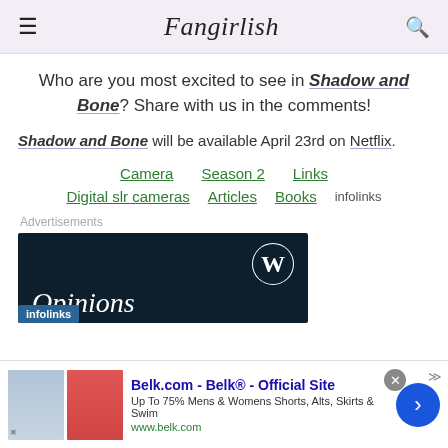Fangirlish
Who are you most excited to see in Shadow and Bone? Share with us in the comments!
Shadow and Bone will be available April 23rd on Netflix.
Camera   Season 2   Links   Digital slr cameras   Articles   Books   infolinks
Advertisements
[Figure (screenshot): Dark navy advertisement banner showing WordPress logo and 'Opinions' text in italic serif font. Below it is an infolinks badge overlay.]
[Figure (screenshot): Bottom advertisement bar for Belk.com showing two skirt images, ad title 'Belk.com - Belk® - Official Site', description 'Up To 75% Mens & Womens Shorts, Alts, Skirts & Swim', URL www.belk.com, a blue circular arrow button, and a grey close button.]